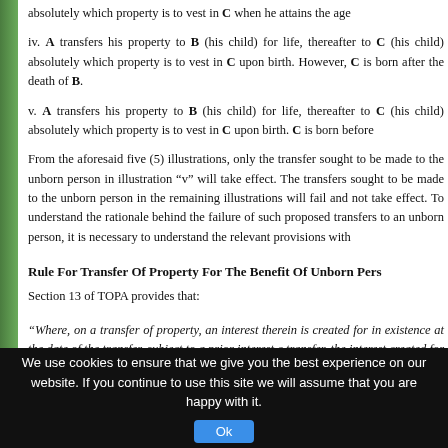absolutely which property is to vest in C when he attains the age
iv. A transfers his property to B (his child) for life, thereafter to C (his child) absolutely which property is to vest in C upon birth. However, C is born after the death of B.
v. A transfers his property to B (his child) for life, thereafter to C (his child) absolutely which property is to vest in C upon birth. C is born before
From the aforesaid five (5) illustrations, only the transfer sought to be made to the unborn person in illustration “v” will take effect. The transfers sought to be made to the unborn person in the remaining illustrations will fail and not take effect. To understand the rationale behind the failure of such proposed transfers to an unborn person, it is necessary to understand the relevant provisions with
Rule For Transfer Of Property For The Benefit Of Unborn Pers
Section 13 of TOPA provides that:
“Where, on a transfer of property, an interest therein is created for in existence at the date of the transfer, subject to a prior interest c transfer, the interest created for the benefit of such person shall n extends to the whole of the remaining interest of the transferor in
We use cookies to ensure that we give you the best experience on our website. If you continue to use this site we will assume that you are happy with it.